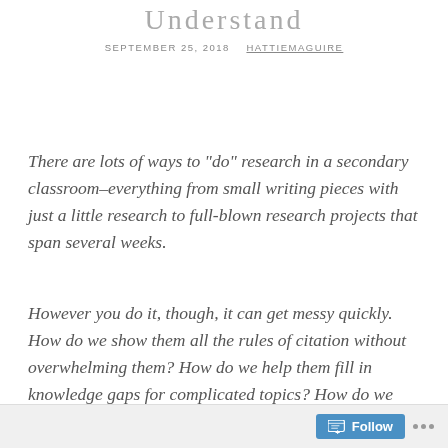Understand
SEPTEMBER 25, 2018   HATTIEMAGUIRE
There are lots of ways to "do" research in a secondary classroom–everything from small writing pieces with just a little research to full-blown research projects that span several weeks.
However you do it, though, it can get messy quickly. How do we show them all the rules of citation without overwhelming them? How do we help them fill in knowledge gaps for complicated topics? How do we
Follow ...